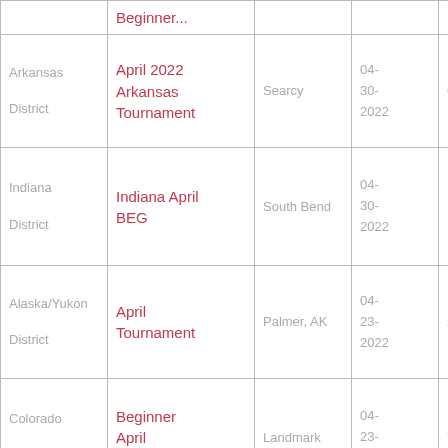| District | Event | City | Date |  |
| --- | --- | --- | --- | --- |
|  | Beginner... |  |  |  |
| Arkansas District | April 2022 Arkansas Tournament | Searcy | 04-30-2022 | 6 |
| Indiana District | Indiana April BEG | South Bend | 04-30-2022 | 12 |
| Alaska/Yukon District | April Tournament | Palmer, AK | 04-23-2022 | 2 |
| Colorado District | Beginner April Tournament | Landmark | 04-23-2022 | 7 |
|  |  |  | 04- |  |